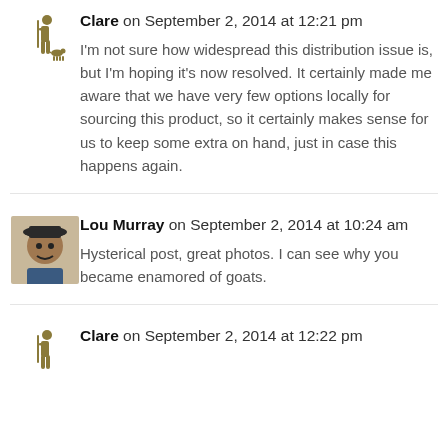Clare on September 2, 2014 at 12:21 pm
I'm not sure how widespread this distribution issue is, but I'm hoping it's now resolved. It certainly made me aware that we have very few options locally for sourcing this product, so it certainly makes sense for us to keep some extra on hand, just in case this happens again.
Lou Murray on September 2, 2014 at 10:24 am
Hysterical post, great photos. I can see why you became enamored of goats.
Clare on September 2, 2014 at 12:22 pm